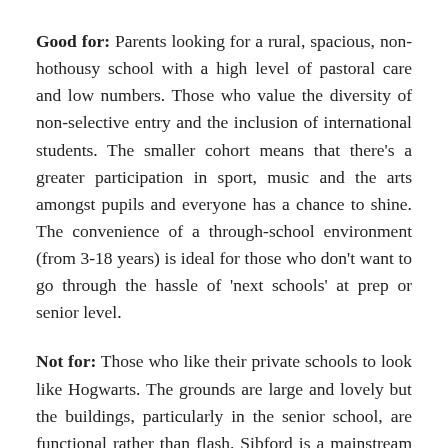Good for: Parents looking for a rural, spacious, non-hothousy school with a high level of pastoral care and low numbers. Those who value the diversity of non-selective entry and the inclusion of international students. The smaller cohort means that there's a greater participation in sport, music and the arts amongst pupils and everyone has a chance to shine. The convenience of a through-school environment (from 3-18 years) is ideal for those who don't want to go through the hassle of 'next schools' at prep or senior level.
Not for: Those who like their private schools to look like Hogwarts. The grounds are large and lovely but the buildings, particularly in the senior school, are functional rather than flash. Sibford is a mainstream school with good teaching but with 30% SEN children in class it won't appeal to all parents. There's no full orchestra here so if you're